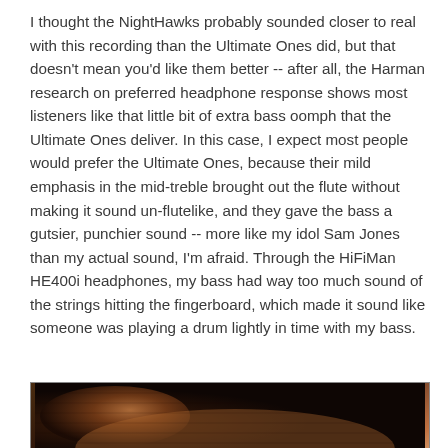I thought the NightHawks probably sounded closer to real with this recording than the Ultimate Ones did, but that doesn't mean you'd like them better -- after all, the Harman research on preferred headphone response shows most listeners like that little bit of extra bass oomph that the Ultimate Ones deliver. In this case, I expect most people would prefer the Ultimate Ones, because their mild emphasis in the mid-treble brought out the flute without making it sound un-flutelike, and they gave the bass a gutsier, punchier sound -- more like my idol Sam Jones than my actual sound, I'm afraid. Through the HiFiMan HE400i headphones, my bass had way too much sound of the strings hitting the fingerboard, which made it sound like someone was playing a drum lightly in time with my bass.
[Figure (photo): Partial photo of what appears to be a headphone or audio equipment, showing dark brown/bronze tones, cropped at the bottom of the page.]